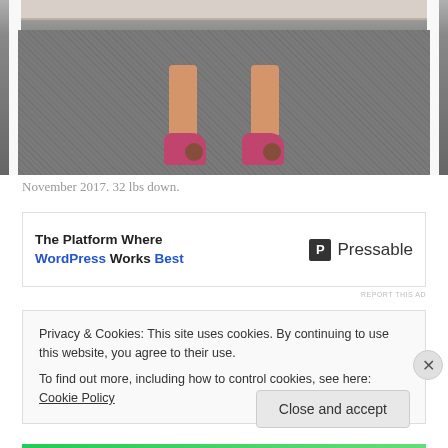[Figure (photo): Photo showing a person's legs and feet wearing pink/magenta flats with leopard print toe detail, standing on a grey textured floor mat near a white shelf or cabinet.]
November 2017. 32 lbs down.
[Figure (other): Advertisement banner: 'The Platform Where WordPress Works Best' with Pressable logo]
REPORT THIS AD
Privacy & Cookies: This site uses cookies. By continuing to use this website, you agree to their use.
To find out more, including how to control cookies, see here: Cookie Policy
Close and accept